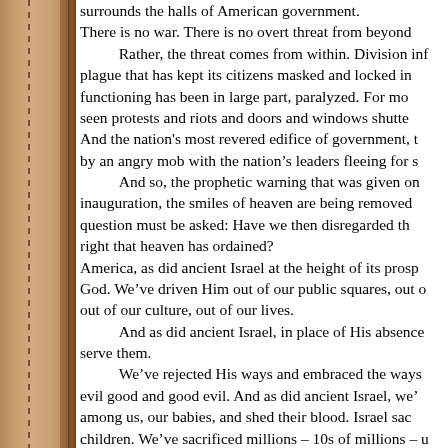surrounds the halls of American government. There is no war. There is no overt threat from beyond. Rather, the threat comes from within. Division inf- plague that has kept its citizens masked and locked in- functioning has been in large part, paralyzed. For mo- seen protests and riots and doors and windows shutte- And the nation's most revered edifice of government, t- by an angry mob with the nation's leaders fleeing for s-

And so, the prophetic warning that was given on inauguration, the smiles of heaven are being removed question must be asked: Have we then disregarded th- right that heaven has ordained?

America, as did ancient Israel at the height of its prosp- God. We've driven Him out of our public squares, out o- out of our culture, out of our lives.

And as did ancient Israel, in place of His absence serve them.

We've rejected His ways and embraced the ways evil good and good evil. And as did ancient Israel, we'- among us, our babies, and shed their blood. Israel sac- children. We've sacrificed millions – 10s of millions – u- here this day, this inaugural day, because we took thei- screams ascend to heaven, and their blood is on our h-

We've passed down rulings from Washington DC laws of heaven, on human life, human nature, gende-